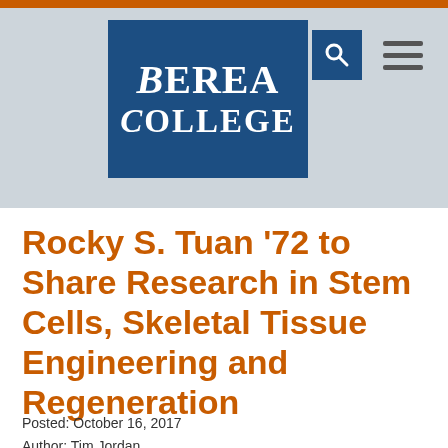[Figure (logo): Berea College logo — white serif text 'Berea College' on dark blue rectangular background]
Rocky S. Tuan '72 to Share Research in Stem Cells, Skeletal Tissue Engineering and Regeneration
Posted: October 16, 2017
Author: Tim Jordan